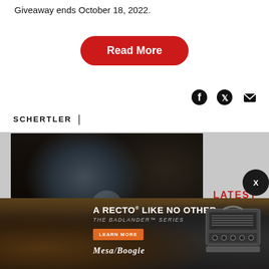Giveaway ends October 18, 2022.
Read More
[Figure (screenshot): Social media share icons: Facebook, Twitter, Email]
SCHERTLER |
[Figure (screenshot): Video thumbnail of a guitarist playing electric guitar in a room with amplifiers, with a play button overlay]
LATEST
[Figure (screenshot): Advertisement banner for Mesa/Boogie Badlander Series amplifier: 'A RECTO LIKE NO OTHER - THE BADLANDER SERIES - LEARN MORE - MESA/BOOGIE']